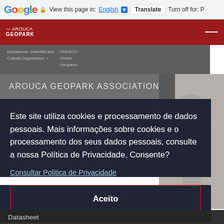Google  View this page in: English ▼  Translate  Turn off for: P
[Figure (screenshot): Arouca Geopark website header with red background and logo]
Educational, Scientific and Cultural Organization  •  UNESCO Global Geoparks
AROUCA GEOPARK ASSOCIATION
Este site utiliza cookies e processamento de dados pessoais. Mais informações sobre cookies e o processamento dos seus dados pessoais, consulte a nossa Política de Privacidade. Consente?
Consultar Politica de Privacidade
Aceito
Datasheet